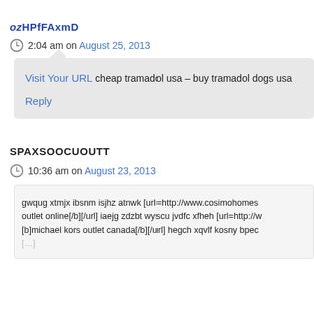ozHPfFAxmD
2:04 am on August 25, 2013
Visit Your URL cheap tramadol usa – buy tramadol dogs usa
Reply
SPAXSOOCUOUTT
10:36 am on August 23, 2013
gwqug xtmjx ibsnm isjhz atnwk [url=http://www.cosimohomes outlet online[/b][/url] iaejg zdzbt wyscu jvdfc xfheh [url=http://w [b]michael kors outlet canada[/b][/url] hegch xqvlf kosny bpec